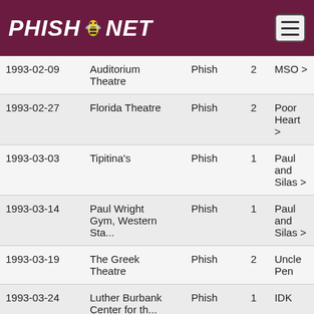PHISH.NET
| Date | Venue | Artist | Set | Song |
| --- | --- | --- | --- | --- |
| 1993-02-09 | Auditorium Theatre | Phish | 2 | MSO > |
| 1993-02-27 | Florida Theatre | Phish | 2 | Poor Heart > |
| 1993-03-03 | Tipitina's | Phish | 1 | Paul and Silas > |
| 1993-03-14 | Paul Wright Gym, Western Sta... | Phish | 1 | Paul and Silas > |
| 1993-03-19 | The Greek Theatre | Phish | 2 | Uncle Pen |
| 1993-03-24 | Luther Burbank Center for th... | Phish | 1 | IDK |
| 1993-03-25 | Santa Cruz Civic Auditorium | Phish | 2 | Curtain > |